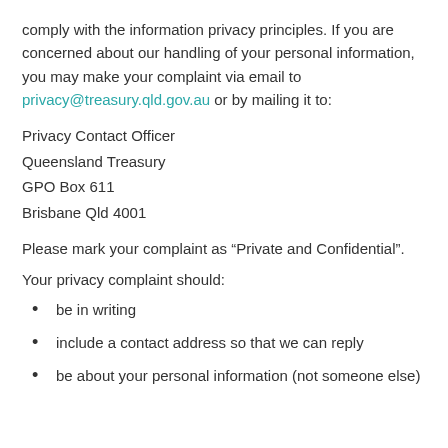comply with the information privacy principles. If you are concerned about our handling of your personal information, you may make your complaint via email to privacy@treasury.qld.gov.au or by mailing it to:
Privacy Contact Officer
Queensland Treasury
GPO Box 611
Brisbane Qld 4001
Please mark your complaint as “Private and Confidential”.
Your privacy complaint should:
be in writing
include a contact address so that we can reply
be about your personal information (not someone else)